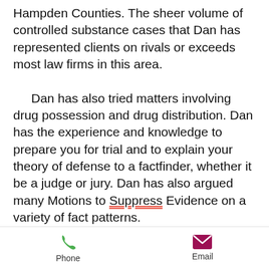Hampden Counties. The sheer volume of controlled substance cases that Dan has represented clients on rivals or exceeds most law firms in this area.
    Dan has also tried matters involving drug possession and drug distribution. Dan has the experience and knowledge to prepare you for trial and to explain your theory of defense to a factfinder, whether it be a judge or jury. Dan has also argued many Motions to Suppress Evidence on a variety of fact patterns.
    In addition to the practical experience in arguing motions, tendering pleas, and trying controlled
Phone   Email